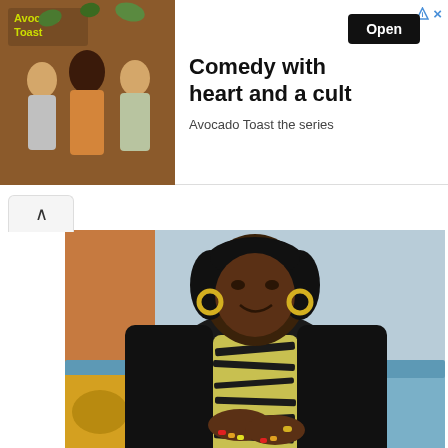[Figure (photo): Advertisement banner for 'Avocado Toast the series' showing three women posing, with text 'Comedy with heart and a cult' and an Open button]
Comedy with heart and a cult
Avocado Toast the series
[Figure (photo): A Black woman with curly hair and yellow hoop earrings wearing a black cardigan over a yellow and black zebra-print dress, sitting on a blue couch with hands folded, colorful nails]